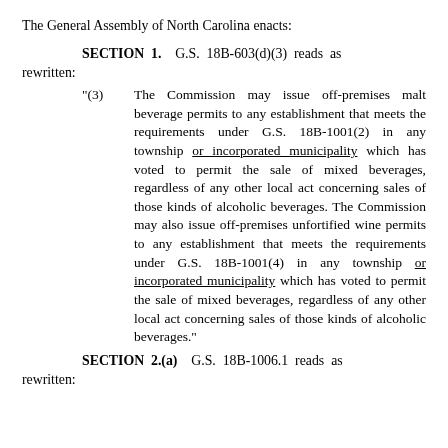The General Assembly of North Carolina enacts:
SECTION 1. G.S. 18B-603(d)(3) reads as rewritten:
"(3) The Commission may issue off-premises malt beverage permits to any establishment that meets the requirements under G.S. 18B-1001(2) in any township or incorporated municipality which has voted to permit the sale of mixed beverages, regardless of any other local act concerning sales of those kinds of alcoholic beverages. The Commission may also issue off-premises unfortified wine permits to any establishment that meets the requirements under G.S. 18B-1001(4) in any township or incorporated municipality which has voted to permit the sale of mixed beverages, regardless of any other local act concerning sales of those kinds of alcoholic beverages."
SECTION 2.(a) G.S. 18B-1006.1 reads as rewritten: